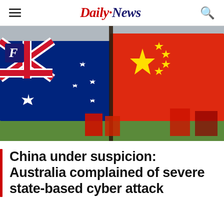Daily News
[Figure (photo): Australian flag and Chinese flag side by side outdoors with Parliament House visible in background and smaller red flags below]
China under suspicion: Australia complained of severe state-based cyber attack